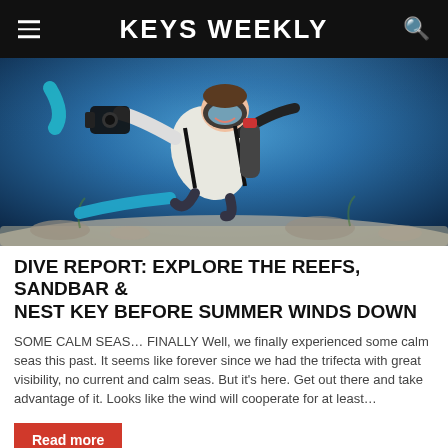KEYS WEEKLY
[Figure (photo): Underwater photo of a scuba diver holding a camera, swimming over a reef with clear blue water]
DIVE REPORT: EXPLORE THE REEFS, SANDBAR & NEST KEY BEFORE SUMMER WINDS DOWN
SOME CALM SEAS… FINALLY Well, we finally experienced some calm seas this past. It seems like forever since we had the trifecta with great visibility, no current and calm seas. But it's here. Get out there and take advantage of it. Looks like the wind will cooperate for at least…
Read more